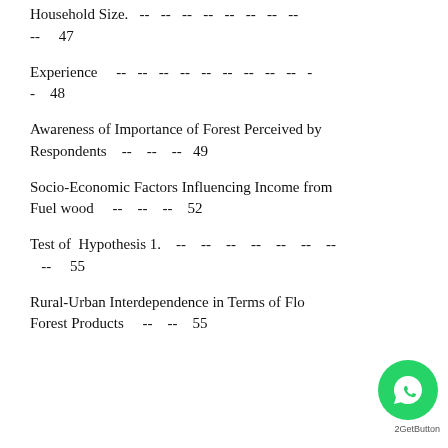Household Size. -- -- -- -- -- -- -- -- -- -- 47
Experience -- -- -- -- -- -- -- -- -- -- 48
Awareness of Importance of Forest Perceived by Respondents -- -- -- 49
Socio-Economic Factors Influencing Income from Fuel wood -- -- -- 52
Test of Hypothesis 1. -- -- -- -- -- -- -- -- 55
Rural-Urban Interdependence in Terms of Flow of Forest Products -- -- 55